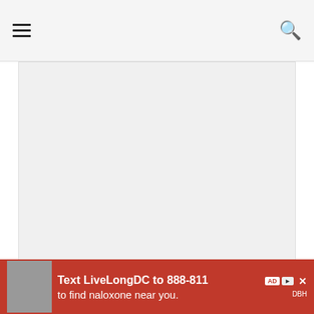Navigation bar with hamburger menu and search icon
[Figure (photo): Large image placeholder area (image content not visible/loaded), light grey rectangle]
Light green to grey in color, sodium bentonite is used in waterproofing materials and sealants, because it can expand about 15 times its dry volume when wetted. In powder cont... ...pand, the
[Figure (other): Advertisement overlay bar: red background, image of person, text 'Text LiveLongDC to 888-811 to find naloxone near you.' with logos and close button]